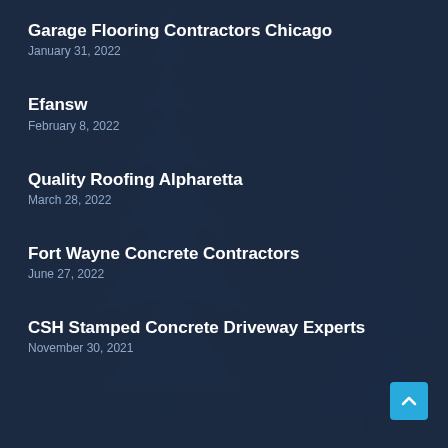Garage Flooring Contractors Chicago
January 31, 2022
Efansw
February 8, 2022
Quality Roofing Alpharetta
March 28, 2022
Fort Wayne Concrete Contractors
June 27, 2022
CSH Stamped Concrete Driveway Experts
November 30, 2021